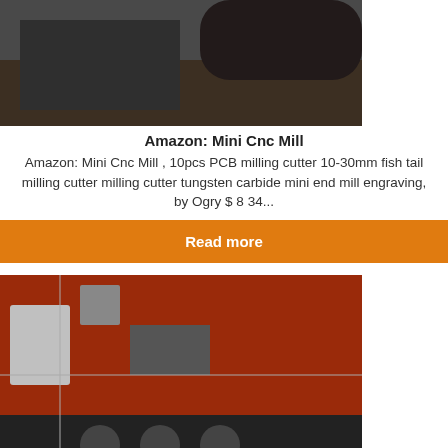[Figure (photo): Photo of a CNC mill setup on a workbench]
Amazon: Mini Cnc Mill
Amazon: Mini Cnc Mill , 10pcs PCB milling cutter 10-30mm fish tail milling cutter milling cutter tungsten carbide mini end mill engraving, by Ogry $ 8 34...
Read more
[Figure (photo): Photo of a printed circuit board with wiring and components]
PCB Manufacturing | Printed Circuit Board |Fast PCBs | PCB ,
Printed Circuit Board Printed Circuit Boards or PCBs cannot be just purchased or ordered off the shelf Beta LAYOUT offers professional manufacturing services for ....
Read more
[Figure (photo): Photo of an industrial or construction interior space]